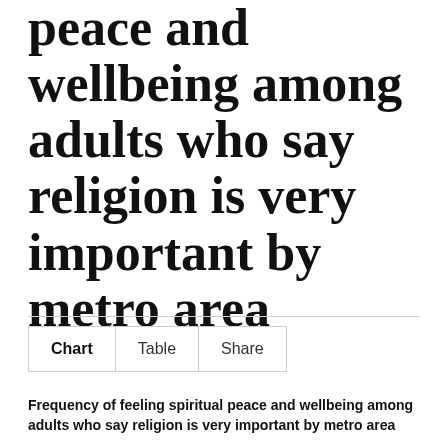peace and wellbeing among adults who say religion is very important by metro area
Chart  Table  Share
Frequency of feeling spiritual peace and wellbeing among adults who say religion is very important by metro area